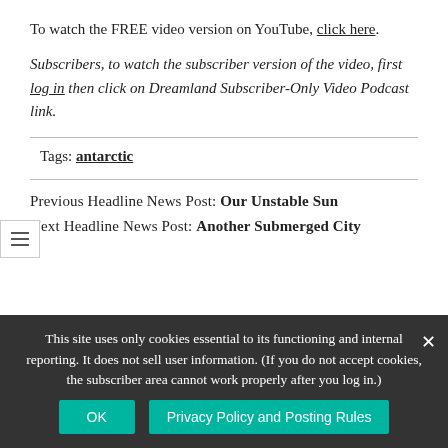To watch the FREE video version on YouTube, click here.
Subscribers, to watch the subscriber version of the video, first log in then click on Dreamland Subscriber-Only Video Podcast link.
Tags: antarctic
Previous Headline News Post: Our Unstable Sun
Next Headline News Post: Another Submerged City
This site uses only cookies essential to its functioning and internal reporting. It does not sell user information. (If you do not accept cookies, the subscriber area cannot work properly after you log in.) OK  Privacy Policy and Posting Rules